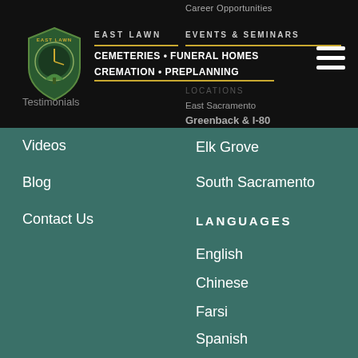Career Opportunities
[Figure (logo): East Lawn circular logo with clock and tree imagery]
EAST LAWN
CEMETERIES • FUNERAL HOMES CREMATION • PREPLANNING
EVENTS & SEMINARS
Testimonials
East Sacramento
Greenback & I-80
Videos
Blog
Contact Us
Elk Grove
South Sacramento
LANGUAGES
English
Chinese
Farsi
Spanish
Vietnamese
Japanese
Mien